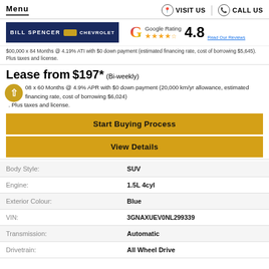Menu | VISIT US | CALL US
[Figure (logo): Bill Spencer Chevrolet logo and Google Rating 4.8 stars]
$00,000 x 84 Months @ 4.19% ATI with $0 down payment (estimated financing rate, cost of borrowing $5,645). Plus taxes and license.
Lease from $197* (Bi-weekly) 08 x 60 Months @ 4.9% APR with $0 down payment (20,000 km/yr allowance, estimated financing rate, cost of borrowing $6,024). Plus taxes and license.
Start Buying Process
View Details
| Label | Value |
| --- | --- |
| Body Style: | SUV |
| Engine: | 1.5L 4cyl |
| Exterior Colour: | Blue |
| VIN: | 3GNAXUEV0NL299339 |
| Transmission: | Automatic |
| Drivetrain: | All Wheel Drive |